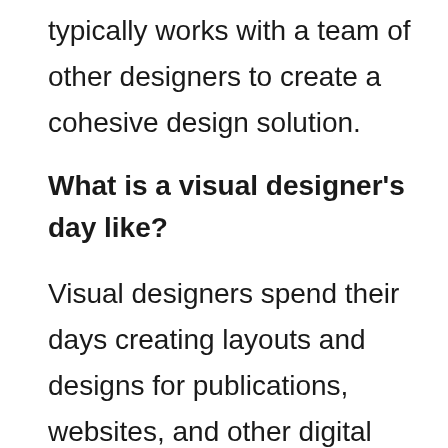typically works with a team of other designers to create a cohesive design solution.
What is a visual designer's day like?
Visual designers spend their days creating layouts and designs for publications, websites, and other digital projects. They use a variety of software to create graphics, including Adobe Photoshop and Inkscape. Some visual designers may also use Illustrator or Sketch to create illustrations or diagrams. Most visual designers work from home, but some may have office hours or be